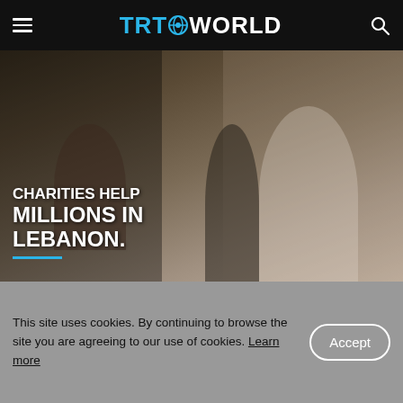TRT WORLD
[Figure (photo): News video thumbnail showing people in a room, with text overlay 'CHARITIES HELP MILLIONS IN LEBANON']
Charities helping millions in Lebanon survive
This site uses cookies. By continuing to browse the site you are agreeing to our use of cookies. Learn more